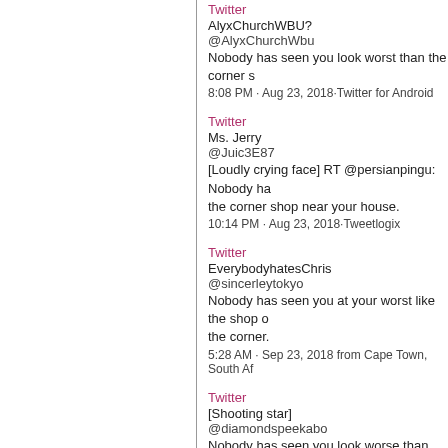Twitter
AlyxChurchWBU?
@AlyxChurchWbu
Nobody has seen you look worst than the corner s
8:08 PM · Aug 23, 2018·Twitter for Android
Twitter
Ms. Jerry
@Juic3E87
[Loudly crying face] RT @persianpingu: Nobody ha the corner shop near your house.
10:14 PM · Aug 23, 2018·Tweetlogix
Twitter
EverybodyhatesChris
@sincerleytokyo
Nobody has seen you at your worst like the shop o the corner.
5:28 AM · Sep 23, 2018 from Cape Town, South Af
Twitter
[Shooting star]
@diamondspeekabo
Nobody has seen you look worse than the corner s
4:47 AM · Oct 17, 2018·Twitter for iPhone